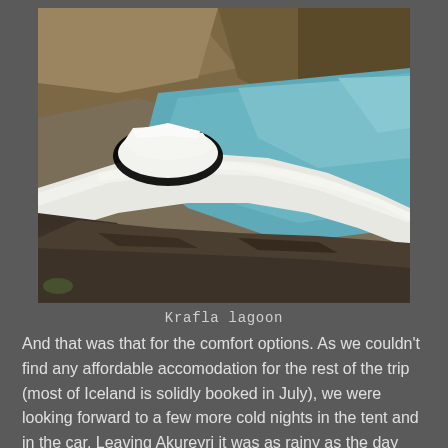[Figure (photo): Aerial or elevated view of Krafla lagoon in Iceland — a turquoise-blue glacial lake bordered by a wide white snow or ice bank curving across the frame, with brown volcanic rocky hillsides in the background.]
Krafla lagoon
And that was that for the comfort options. As we couldn't find any affordable accomodation for the rest of the trip (most of Iceland is solidly booked in July), we were looking forward to a few more cold nights in the tent and in the car. Leaving Akureyri it was as rainy as the day before. This day brought us more waterfalls, but also traditional icelandic turf houses built with their covered rooves and plenty of volcanic scenery.